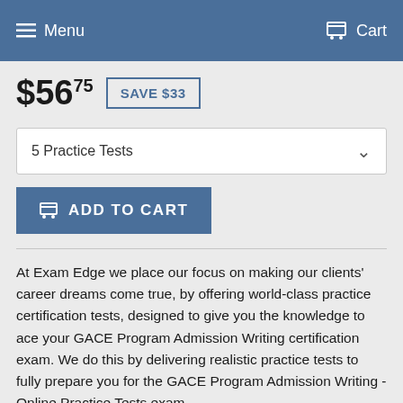Menu   Cart
$56.75  SAVE $33
5 Practice Tests
ADD TO CART
At Exam Edge we place our focus on making our clients' career dreams come true, by offering world-class practice certification tests, designed to give you the knowledge to ace your GACE Program Admission Writing certification exam. We do this by delivering realistic practice tests to fully prepare you for the GACE Program Admission Writing - Online Practice Tests exam.
Once you have completed a practice exam, you will have permanent